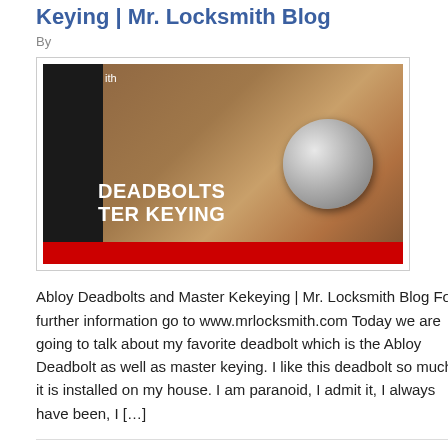Keying | Mr. Locksmith Blog
By
[Figure (photo): Thumbnail image showing a wooden door deadbolt and knob with text overlay reading DEADBOLTS TER KEYING]
Abloy Deadbolts and Master Kekeying | Mr. Locksmith Blog For further information go to www.mrlocksmith.com Today we are going to talk about my favorite deadbolt which is the Abloy Deadbolt as well as master keying. I like this deadbolt so much, it is installed on my house. I am paranoid, I admit it, I always have been, I […]
Filed Under: 24 Hour Locksmith Services, Articles, Blog, Locksmith Training, Locksmith Videos, Mr. Locksmith, Our Blog, Products, Sentry Safe, Short Testimonials Tagged With: Abloy Deadbolt, Abloy Locks, Become a